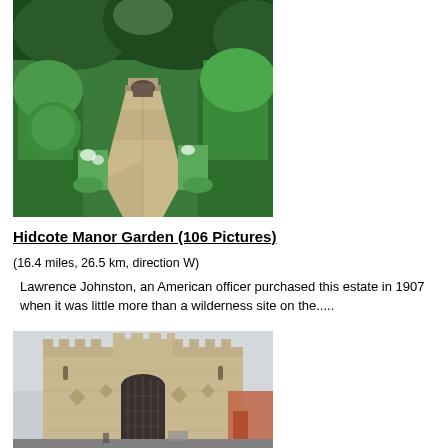[Figure (photo): Garden path at Hidcote Manor Garden with shaped topiary hedges and lush green plants on either side, leading to steps]
Hidcote Manor Garden (106 Pictures)
(16.4 miles, 26.5 km, direction W)
Lawrence Johnston, an American officer purchased this estate in 1907 when it was little more than a wilderness site on the.....
[Figure (photo): Stone castle gatehouse with battlements, medieval architecture, visible in a town setting]